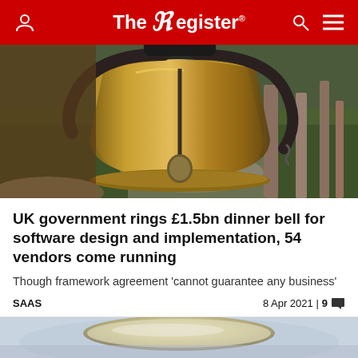The Register
[Figure (photo): Close-up photograph of a large brass/bronze bell with a black iron bracket/yoke, hanging outdoors with wooden posts and greenery in the background.]
UK government rings £1.5bn dinner bell for software design and implementation, 54 vendors come running
Though framework agreement 'cannot guarantee any business'
SAAS    8 Apr 2021 | 9
[Figure (photo): Partially visible photograph at the bottom of the page, appears to show a glass or translucent object with blurred background.]